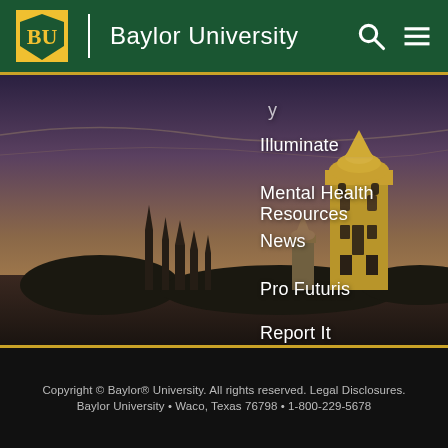Baylor University
Illuminate
Mental Health Resources
News
Pro Futuris
Report It
Search
Social Media
Title IX
[Figure (photo): Aerial dusk view of Baylor University campus with historic towers and chapel silhouetted against a dramatic sky]
Copyright © Baylor® University. All rights reserved. Legal Disclosures. Baylor University • Waco, Texas 76798 • 1-800-229-5678